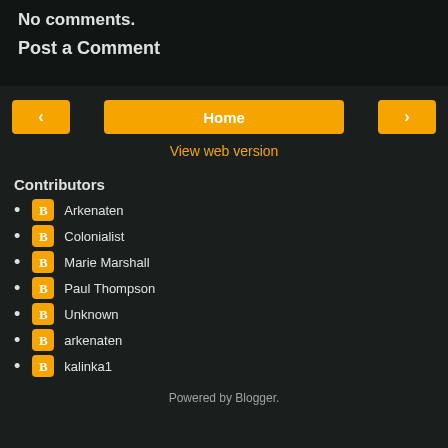No comments.
Post a Comment
Home
View web version
Contributors
Arkenaten
Colonialist
Marie Marshall
Paul Thompson
Unknown
arkenaten
kalinka1
Powered by Blogger.